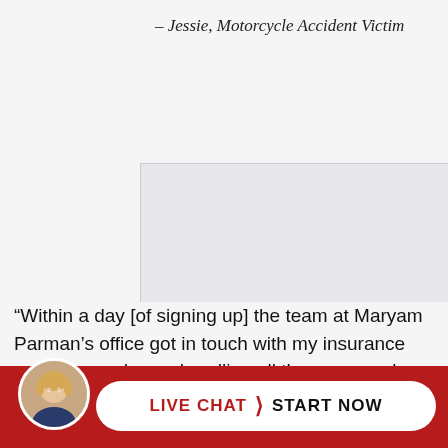– Jessie, Motorcycle Accident Victim
[Figure (photo): Photo placeholder of a person (client testimonial image), light gray box]
“Within a day [of signing up] the team at Maryam Parman’s office got in touch with my insurance company and were handling all the paperwork that goes along with the claims. I didn’t really understand the whole process [and] the i…
[Figure (photo): Circular avatar photo of a woman with blonde hair in a blazer, overlaid on red footer bar]
LIVE CHAT › START NOW